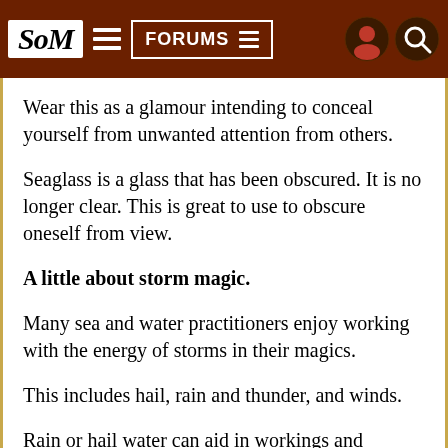SoM | FORUMS
Wear this as a glamour intending to conceal yourself from unwanted attention from others.
Seaglass is a glass that has been obscured. It is no longer clear. This is great to use to obscure oneself from view.
A little about storm magic.
Many sea and water practitioners enjoy working with the energy of storms in their magics.
This includes hail, rain and thunder, and winds.
Rain or hail water can aid in workings and cleansings.
The energy a storm produces itself can be great to draw